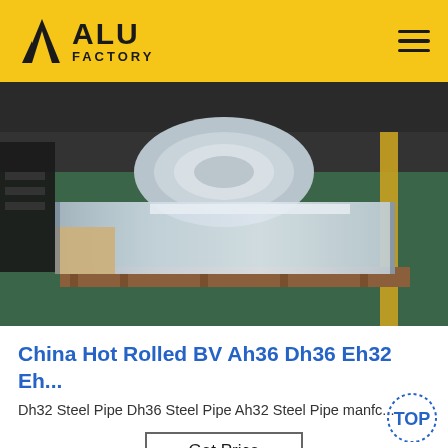[Figure (logo): ALU FACTORY logo with triangular A icon on yellow/gold header bar]
[Figure (photo): Photo of hot rolled steel sheets/plates wrapped in plastic film on a wooden pallet in an industrial warehouse setting]
China Hot Rolled BV Ah36 Dh36 Eh32 Eh...
Dh32 Steel Pipe Dh36 Steel Pipe Ah32 Steel Pipe manfc...
Get Price